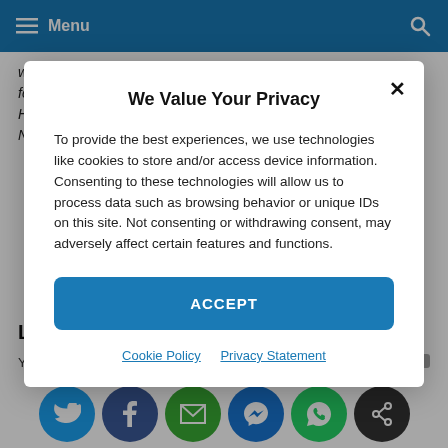Menu
widely read publication focusing on issues surrounding computer forensics and electronic evidence. Patzakis is a member of the High Technology Crime Investigation Association (HTCIA), The National Association of Corporate Directors (NACD)...
We Value Your Privacy
To provide the best experiences, we use technologies like cookies to store and/or access device information. Consenting to these technologies will allow us to process data such as browsing behavior or unique IDs on this site. Not consenting or withdrawing consent, may adversely affect certain features and functions.
ACCEPT
Cookie Policy   Privacy Statement
Leave a Comment
You must be logged in to post a comment.
[Figure (other): Social sharing buttons: Twitter, Facebook, Email, Messenger, WhatsApp, Share]